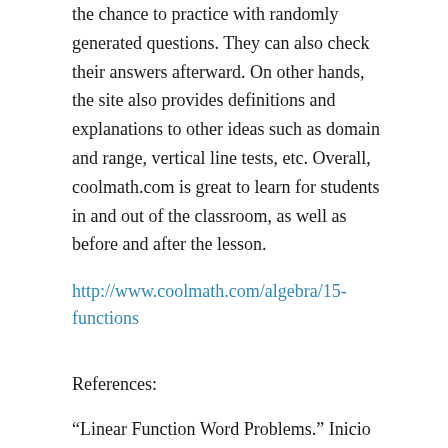the chance to practice with randomly generated questions. They can also check their answers afterward. On other hands, the site also provides definitions and explanations to other ideas such as domain and range, vertical line tests, etc. Overall, coolmath.com is great to learn for students in and out of the classroom, as well as before and after the lesson.
http://www.coolmath.com/algebra/15-functions
References:
“Linear Function Word Problems.” Inicio